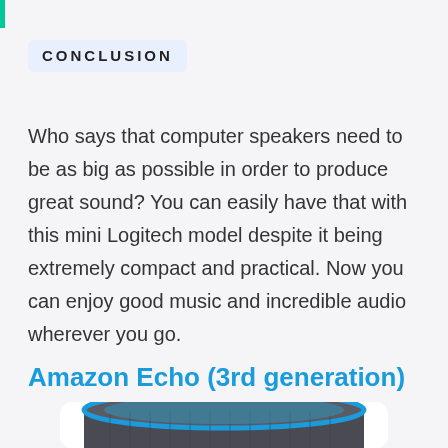CONCLUSION
Who says that computer speakers need to be as big as possible in order to produce great sound? You can easily have that with this mini Logitech model despite it being extremely compact and practical. Now you can enjoy good music and incredible audio wherever you go.
Amazon Echo (3rd generation)
[Figure (photo): Photo of an Amazon Echo (3rd generation) smart speaker with dark gray fabric exterior and blue light ring at the top, shown from above at an angle.]